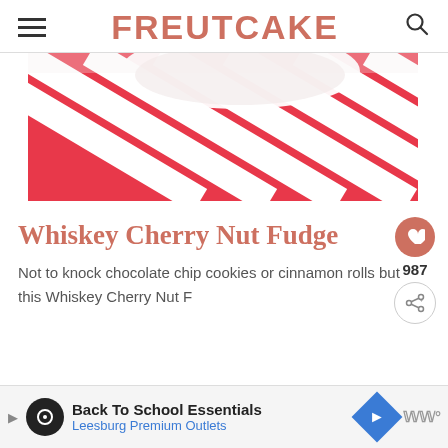FREUTCAKE
[Figure (photo): Close-up photo of a white plate on a red and white diagonal striped fabric/towel background]
Whiskey Cherry Nut Fudge
Not to knock chocolate chip cookies or cinnamon rolls but this Whiskey Cherry Nut F...
[Figure (other): Advertisement banner: Back To School Essentials - Leesburg Premium Outlets]